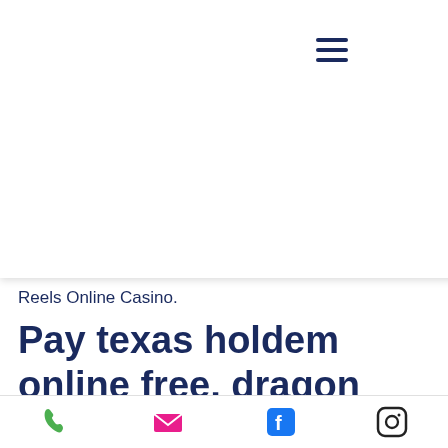[Figure (logo): Marvelous Masonry LLC logo with blue building/skyscraper icon and stylized text]
s are
are in
w
People
num
Reels Online Casino.
Pay texas holdem online free, dragon age inquisition more ability slots mod
Some online casinos do not have a good reputation among players, so you should never play at such casinos. For casinos, their reputation is everything, caesars casino app real money. Before you start placing any bet on an online casino, you should check